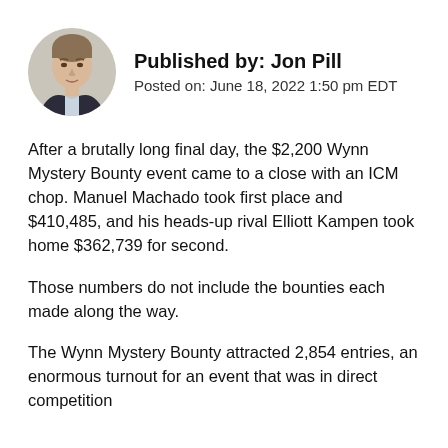[Figure (photo): Circular headshot photo of Jon Pill, a young man in a dark jacket with a light background]
Published by: Jon Pill
Posted on: June 18, 2022 1:50 pm EDT
After a brutally long final day, the $2,200 Wynn Mystery Bounty event came to a close with an ICM chop. Manuel Machado took first place and $410,485, and his heads-up rival Elliott Kampen took home $362,739 for second.
Those numbers do not include the bounties each made along the way.
The Wynn Mystery Bounty attracted 2,854 entries, an enormous turnout for an event that was in direct competition